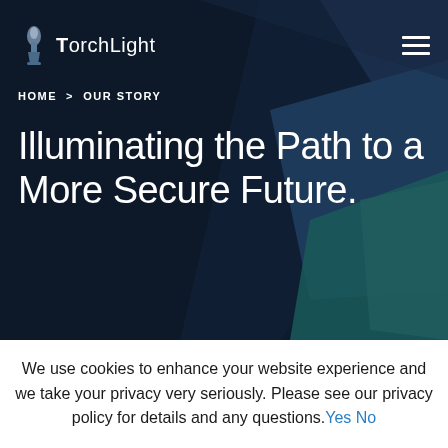TorchLight
HOME > OUR STORY
Illuminating the Path to a More Secure Future.
We use cookies to enhance your website experience and we take your privacy very seriously. Please see our privacy policy for details and any questions. Yes No